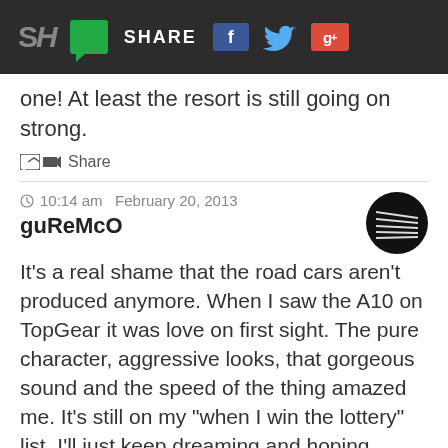SH SHARE
one! At least the resort is still going on strong.
Share
10:14 am  February 20, 2013
guReMcO
It's a real shame that the road cars aren't produced anymore. When I saw the A10 on TopGear it was love on first sight. The pure character, aggressive looks, that gorgeous sound and the speed of the thing amazed me. It's still on my "when I win the lottery" list. I'll just keep dreaming and hoping they'll save one for me.